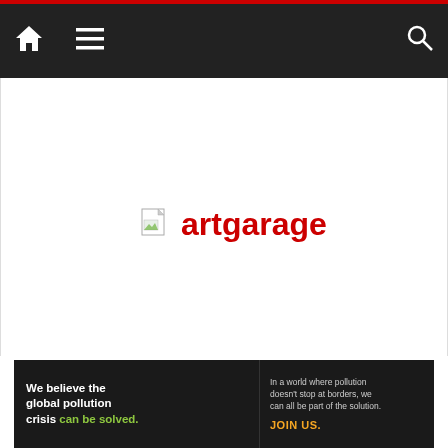Navigation bar with home, menu, and search icons
[Figure (logo): Broken image placeholder icon (small document with green/white corner) followed by 'artgarage' text in red]
[Figure (infographic): Pure Earth advertisement banner: black background left section with white bold text 'We believe the global pollution crisis can be solved.' with 'can be solved.' in green. Middle section: small gray text 'In a world where pollution doesn't stop at borders, we can all be part of the solution.' with 'JOIN US.' in orange/yellow. Right section: Pure Earth logo (diamond/arrow icon in gold/dark colors) with PURE EARTH text in black on light background.]